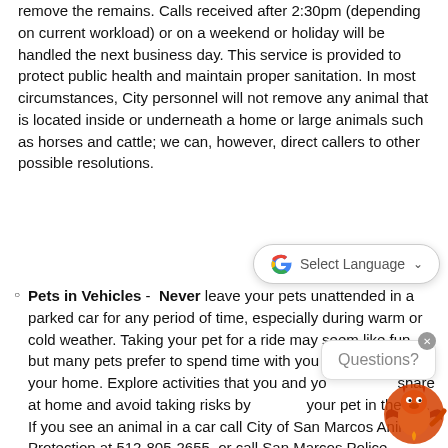remove the remains. Calls received after 2:30pm (depending on current workload) or on a weekend or holiday will be handled the next business day. This service is provided to protect public health and maintain proper sanitation. In most circumstances, City personnel will not remove any animal that is located inside or underneath a home or large animals such as horses and cattle; we can, however, direct callers to other possible resolutions.
Pets in Vehicles - Never leave your pets unattended in a parked car for any period of time, especially during warm or cold weather. Taking your pet for a ride may seem like fun, but many pets prefer to spend time with you in the comfort of your home. Explore activities that you and your pet can share at home and avoid taking risks by leaving your pet in the car. If you see an animal in a car call City of San Marcos Animal Protection at 512-805-2655, or call San Marcos Police Department after business hours at 512-753-2108.
[Figure (other): Google Translate 'Select Language' widget overlay]
[Figure (other): Chat widget bubble with 'Questions?' text and close button]
[Figure (illustration): City of San Marcos dragon mascot illustration in bottom-right corner]